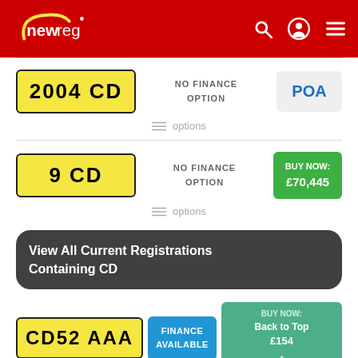newreg
2004 CD — NO FINANCE OPTION — POA
options
9 CD — NO FINANCE OPTION — BUY NOW: £70,445
options
View All Current Registrations Containing CD
CD52 AAA — FINANCE AVAILABLE — BUY NOW: £154 — Back to Top